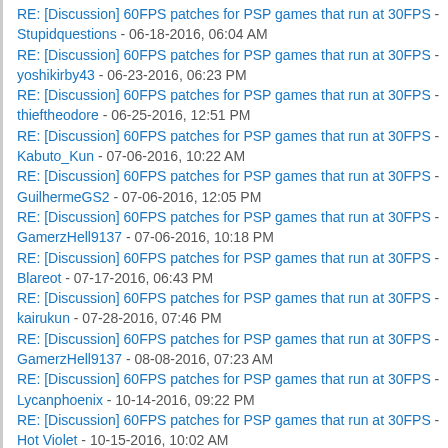RE: [Discussion] 60FPS patches for PSP games that run at 30FPS - Stupidquestions - 06-18-2016, 06:04 AM
RE: [Discussion] 60FPS patches for PSP games that run at 30FPS - yoshikirby43 - 06-23-2016, 06:23 PM
RE: [Discussion] 60FPS patches for PSP games that run at 30FPS - thieftheodore - 06-25-2016, 12:51 PM
RE: [Discussion] 60FPS patches for PSP games that run at 30FPS - Kabuto_Kun - 07-06-2016, 10:22 AM
RE: [Discussion] 60FPS patches for PSP games that run at 30FPS - GuilhermeGS2 - 07-06-2016, 12:05 PM
RE: [Discussion] 60FPS patches for PSP games that run at 30FPS - GamerzHell9137 - 07-06-2016, 10:18 PM
RE: [Discussion] 60FPS patches for PSP games that run at 30FPS - Blareot - 07-17-2016, 06:43 PM
RE: [Discussion] 60FPS patches for PSP games that run at 30FPS - kairukun - 07-28-2016, 07:46 PM
RE: [Discussion] 60FPS patches for PSP games that run at 30FPS - GamerzHell9137 - 08-08-2016, 07:23 AM
RE: [Discussion] 60FPS patches for PSP games that run at 30FPS - Lycanphoenix - 10-14-2016, 09:22 PM
RE: [Discussion] 60FPS patches for PSP games that run at 30FPS - Hot Violet - 10-15-2016, 10:02 AM
RE: [Discussion] 60FPS patches for PSP games that run at 30FPS - Lycanphoenix - 10-22-2016, 04:11 AM
RE: [Discussion] 60FPS patches for PSP games that run at 30FPS - Kabuto_Kun - 10-27-2016, 02:45 PM